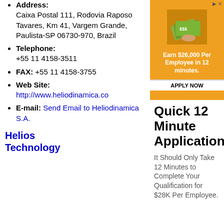Address: Caixa Postal 111, Rodovia Raposo Tavares, Km 41, Vargem Grande, Paulista-SP 06730-970, Brazil
Telephone: +55 11 4158-3511
FAX: +55 11 4158-3755
Web Site: http://www.heliodinamica.co
E-mail: Send Email to Heliodinamica S.A.
Helios Technology
[Figure (infographic): Advertisement banner: orange background with image of money fan, text 'Earn $26,000 Per Employee in 12 minutes.' with APPLY NOW button. Below: large bold text 'Quick 12 Minute Application'. Body text: 'It Should Only Take 12 Minutes to Complete Your Qualification for $28K Per Employee.']